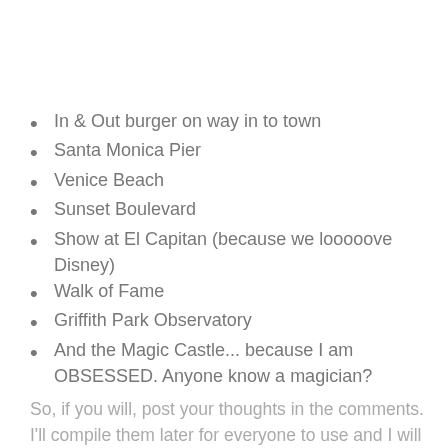In & Out burger on way in to town
Santa Monica Pier
Venice Beach
Sunset Boulevard
Show at El Capitan (because we looooove Disney)
Walk of Fame
Griffith Park Observatory
And the Magic Castle... because I am OBSESSED. Anyone know a magician?  Anyone?  Anyone?
So, if you will, post your thoughts in the comments.  I'll compile them later for everyone to use and I will